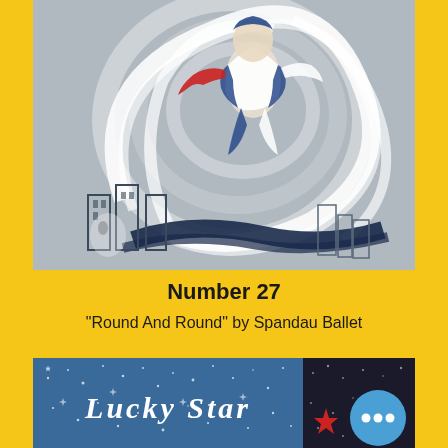[Figure (illustration): Painted artwork showing a superhero-like figure in a blue and white costume with red gloves, spinning or flying through a swirling white vortex above a stylized cityscape with dark buildings on a grey background.]
Number 27
"Round And Round" by Spandau Ballet
[Figure (logo): Lucky Star logo on a blue starry background with a red star and a blue circle with three dots (ellipsis) on the right side. Text reads LUCKY STAR.]